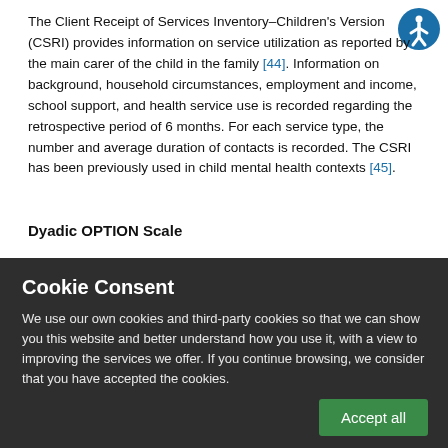The Client Receipt of Services Inventory–Children's Version (CSRI) provides information on service utilization as reported by the main carer of the child in the family [44]. Information on background, household circumstances, employment and income, school support, and health service use is recorded regarding the retrospective period of 6 months. For each service type, the number and average duration of contacts is recorded. The CSRI has been previously used in child mental health contexts [45].
Dyadic OPTION Scale
Cookie Consent
We use our own cookies and third-party cookies so that we can show you this website and better understand how you use it, with a view to improving the services we offer. If you continue browsing, we consider that you have accepted the cookies.